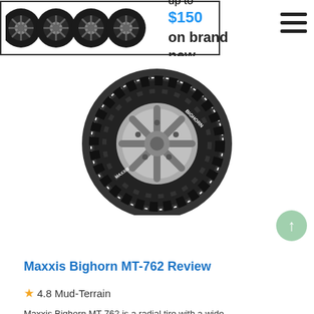[Figure (screenshot): Banner advertisement showing four black alloy wheels on the left, with text 'Rebates up to $150 on brand new tires!' on the right. A hamburger menu icon appears at the far right.]
[Figure (photo): Photo of a Maxxis Bighorn MT-762 mud-terrain tire with white lettering on a silver alloy wheel, viewed at an angle against a white background.]
Maxxis Bighorn MT-762 Review
4.8 Mud-Terrain
Maxxis Bighorn MT-762 is a radial tire with a wide